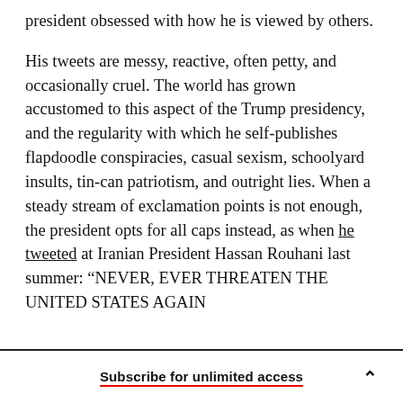president obsessed with how he is viewed by others.
His tweets are messy, reactive, often petty, and occasionally cruel. The world has grown accustomed to this aspect of the Trump presidency, and the regularity with which he self-publishes flapdoodle conspiracies, casual sexism, schoolyard insults, tin-can patriotism, and outright lies. When a steady stream of exclamation points is not enough, the president opts for all caps instead, as when he tweeted at Iranian President Hassan Rouhani last summer: “NEVER, EVER THREATEN THE UNITED STATES AGAIN
Subscribe for unlimited access